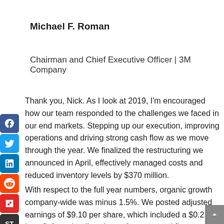Michael F. Roman
Chairman and Chief Executive Officer | 3M Company
Thank you, Nick. As I look at 2019, I'm encouraged how our team responded to the challenges we faced in our end markets. Stepping up our execution, improving operations and driving strong cash flow as we move through the year. We finalized the restructuring we announced in April, effectively managed costs and reduced inventory levels by $370 million.
With respect to the full year numbers, organic growth company-wide was minus 1.5%. We posted adjusted earnings of $9.10 per share, which included a $0.21 benefit from the divestiture of our gas and flame detection business. We increased cash flow by 10%